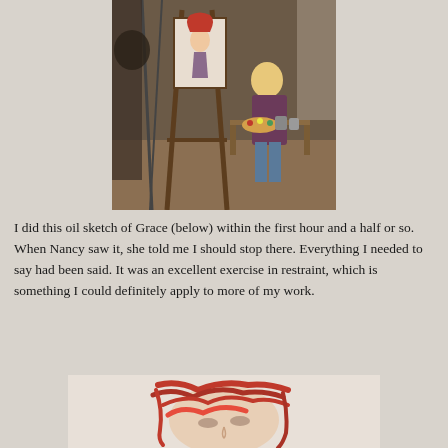[Figure (photo): An artist sitting at an easel in an art studio, painting a portrait. The canvas shows a figure with red hair. The artist is a woman with long blonde hair, seated, working on the painting. Various art supplies visible on a wooden table nearby.]
I did this oil sketch of Grace (below) within the first hour and a half or so. When Nancy saw it, she told me I should stop there. Everything I needed to say had been said. It was an excellent exercise in restraint, which is something I could definitely apply to more of my work.
[Figure (photo): An oil sketch painting of Grace, showing a face with flowing red hair painted in loose, expressive brushstrokes on a light background.]